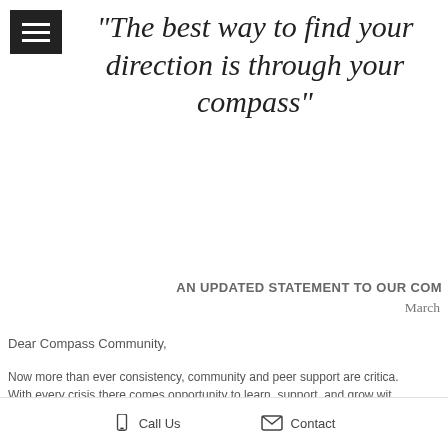“The best way to find your direction is through your compass”
AN UPDATED STATEMENT TO OUR COM
March
Dear Compass Community,
Now more than ever consistency, community and peer support are critica. With every crisis there comes opportunity to learn, support, and grow wit. “distancing” with the importance of continuum of care, we are transitioni. spread of the Coronavirus through social interaction begin to subside. W
Call Us   Contact